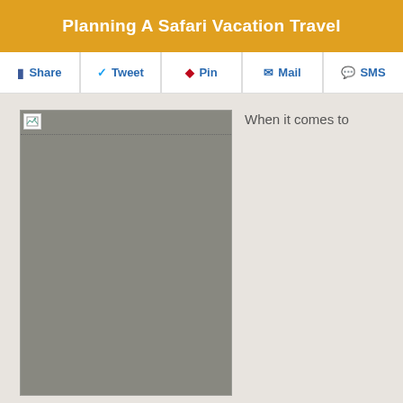Planning A Safari Vacation Travel
Share  Tweet  Pin  Mail  SMS
[Figure (photo): Broken/loading image placeholder (grey rectangle with broken image icon)]
When it comes to